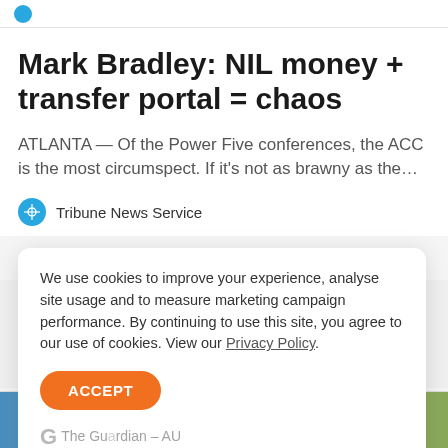Mark Bradley: NIL money + transfer portal = chaos
ATLANTA — Of the Power Five conferences, the ACC is the most circumspect. If it's not as brawny as the…
Tribune News Service
We use cookies to improve your experience, analyse site usage and to measure marketing campaign performance. By continuing to use this site, you agree to our use of cookies. View our Privacy Policy.
ACCEPT
The Guardian – AU